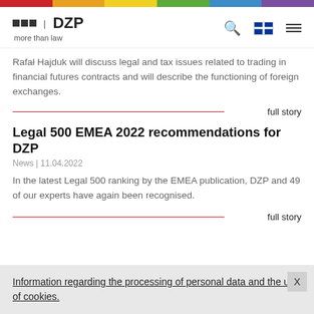DZP | more than law — navigation header with logo, search, UK flag, and menu
Rafat Hajduk will discuss legal and tax issues related to trading in financial futures contracts and will describe the functioning of foreign exchanges.
full story
Legal 500 EMEA 2022 recommendations for DZP
News | 11.04.2022
In the latest Legal 500 ranking by the EMEA publication, DZP and 49 of our experts have again been recognised.
full story
Information regarding the processing of personal data and the use of cookies.